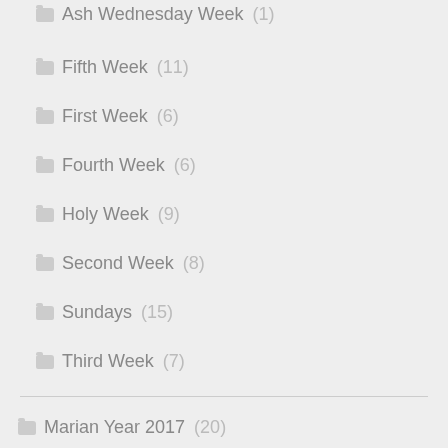Ash Wednesday Week (1)
Fifth Week (11)
First Week (6)
Fourth Week (6)
Holy Week (9)
Second Week (8)
Sundays (15)
Third Week (7)
Marian Year 2017 (20)
33 Days Preparatory Prayer (19)